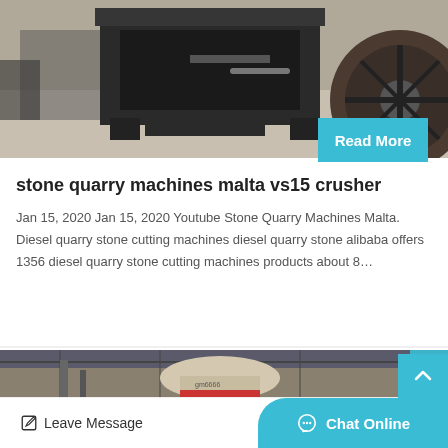[Figure (photo): Industrial stone crusher machine on a concrete floor, heavy metal frame with large flywheel visible on right side]
Read More
stone quarry machines malta vs15 crusher
Jan 15, 2020 Jan 15, 2020 Youtube Stone Quarry Machines Malta. Diesel quarry stone cutting machines diesel quarry stone alibaba offers 1356 diesel quarry stone cutting machines products about 8…
[Figure (photo): Large industrial cone crusher or mill machine inside a factory building with metal roof structure visible above]
Leave Message
Chat Online